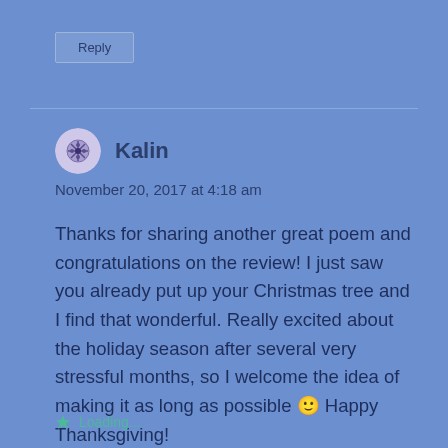Reply
Kalin
November 20, 2017 at 4:18 am
Thanks for sharing another great poem and congratulations on the review! I just saw you already put up your Christmas tree and I find that wonderful. Really excited about the holiday season after several very stressful months, so I welcome the idea of making it as long as possible 🙂 Happy Thanksgiving!
Loading...